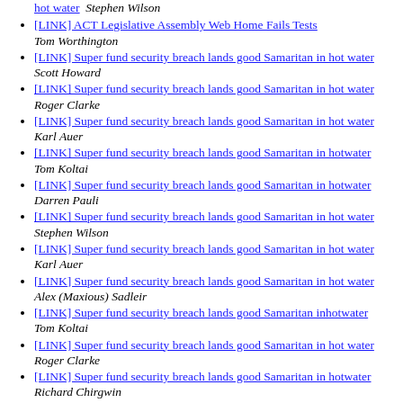hot water  Stephen Wilson
[LINK] ACT Legislative Assembly Web Home Fails Tests  Tom Worthington
[LINK] Super fund security breach lands good Samaritan in hot water  Scott Howard
[LINK] Super fund security breach lands good Samaritan in hot water  Roger Clarke
[LINK] Super fund security breach lands good Samaritan in hot water  Karl Auer
[LINK] Super fund security breach lands good Samaritan in hotwater  Tom Koltai
[LINK] Super fund security breach lands good Samaritan in hotwater  Darren Pauli
[LINK] Super fund security breach lands good Samaritan in hot water  Stephen Wilson
[LINK] Super fund security breach lands good Samaritan in hot water  Karl Auer
[LINK] Super fund security breach lands good Samaritan in hot water  Alex (Maxious) Sadleir
[LINK] Super fund security breach lands good Samaritan inhotwater  Tom Koltai
[LINK] Super fund security breach lands good Samaritan in hot water  Roger Clarke
[LINK] Super fund security breach lands good Samaritan in hotwater  Richard Chirgwin